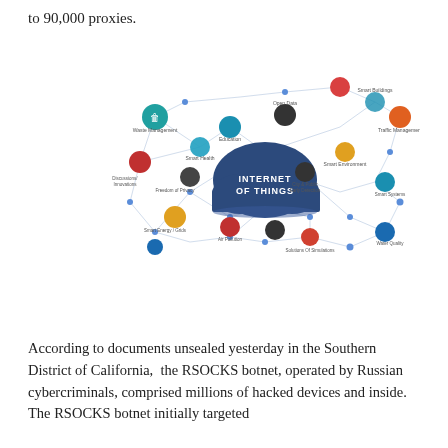to 90,000 proxies.
[Figure (illustration): Internet of Things infographic showing a cloud labeled 'INTERNET OF THINGS' in the center, surrounded by connected icons representing various IoT applications such as Open Data, Education, Traffic Management, Smart Environment, Energy Management, Water Quality, Air Pollution, Vehicle Tracking, and others, connected by a network of lines and dots.]
According to documents unsealed yesterday in the Southern District of California,  the RSOCKS botnet, operated by Russian cybercriminals, comprised millions of hacked devices and inside. The RSOCKS botnet initially targeted...